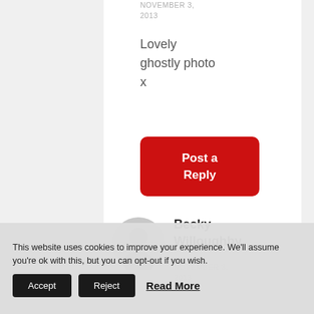NOVEMBER 3, 2013
Lovely ghostly photo x
Post a Reply
[Figure (illustration): Generic user avatar (gray circle with person silhouette)]
Becky Willoughby
NOVEMBER 3, 2013
This website uses cookies to improve your experience. We'll assume you're ok with this, but you can opt-out if you wish.
Accept
Reject
Read More